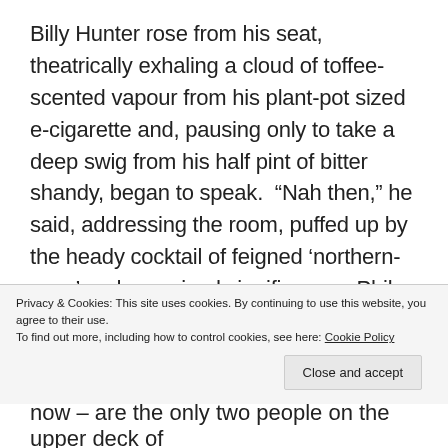Billy Hunter rose from his seat, theatrically exhaling a cloud of toffee-scented vapour from his plant-pot sized e-cigarette and, pausing only to take a deep swig from his half pint of bitter shandy, began to speak.  “Nah then,” he said, addressing the room, puffed up by the heady cocktail of feigned ‘northern-ness’ and perceived significance.  Phil and Frankie rolled their eyes in unison.  “Here’s the scene.  It’s winter.  It’s raining: winter rain, colder than snow, pinching at faces and drowning hope from the ground up.  It’s windy too: too windy for umbrellas
Privacy & Cookies: This site uses cookies. By continuing to use this website, you agree to their use.
To find out more, including how to control cookies, see here: Cookie Policy
now – are the only two people on the upper deck of